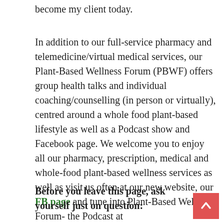become my client today.
In addition to our full-service pharmacy and telemedicine/virtual medical services, our Plant-Based Wellness Forum (PBWF) offers group health talks and individual coaching/counselling (in person or virtually), centred around a whole food plant-based lifestyle as well as a Podcast show and Facebook page. We welcome you to enjoy all our pharmacy, prescription, medical and whole-food plant-based wellness services as well as visit us often at our new website, our FB page and tune into Plant-Based Wellness Forum- the Podcast at https://pbwf.buzzsprout.com/.
Before you leave this page, ask yourself just on question: